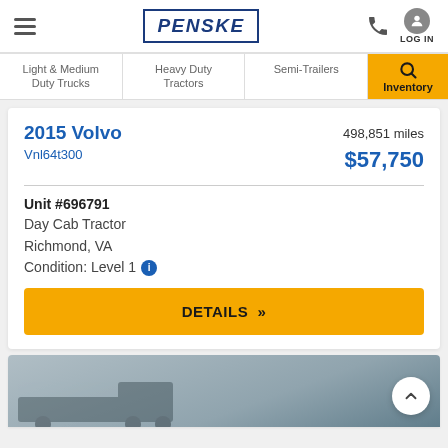PENSKE — Navigation header with hamburger menu, phone icon, and LOG IN
Light & Medium Duty Trucks | Heavy Duty Tractors | Semi-Trailers | Inventory (search)
2015 Volvo Vnl64t300
498,851 miles
$57,750
Unit #696791
Day Cab Tractor
Richmond, VA
Condition: Level 1
DETAILS »
[Figure (photo): Partial thumbnail image of a truck, clipped at bottom of page]